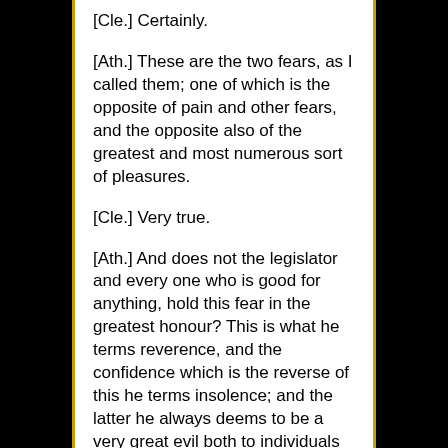[Cle.] Certainly.
[Ath.] These are the two fears, as I called them; one of which is the opposite of pain and other fears, and the opposite also of the greatest and most numerous sort of pleasures.
[Cle.] Very true.
[Ath.] And does not the legislator and every one who is good for anything, hold this fear in the greatest honour? This is what he terms reverence, and the confidence which is the reverse of this he terms insolence; and the latter he always deems to be a very great evil both to individuals and to